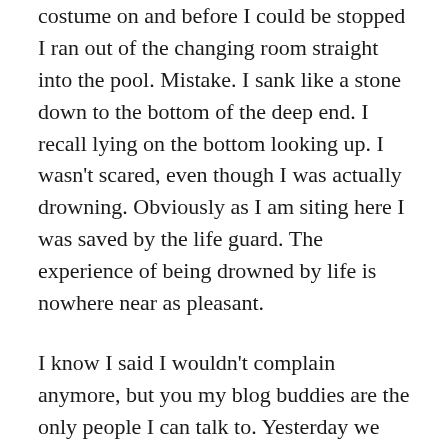costume on and before I could be stopped I ran out of the changing room straight into the pool. Mistake. I sank like a stone down to the bottom of the deep end. I recall lying on the bottom looking up. I wasn't scared, even though I was actually drowning. Obviously as I am siting here I was saved by the life guard. The experience of being drowned by life is nowhere near as pleasant.
I know I said I wouldn't complain anymore, but you my blog buddies are the only people I can talk to. Yesterday we had a lovely trip in an ambulance to our local A&E as Mike couldn't breathe properly. The paramedic had checked him over and couldn't find the source of the problem so obviously they had to take him in. I stayed with him in the hospital for a while, but when they said he was going to be admitted, but he would have to wait in the corridor we decided between us that it was best I